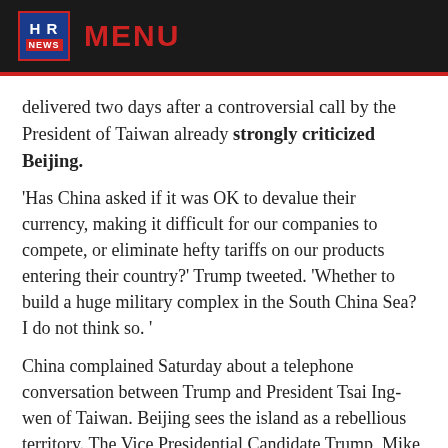HR NEWS  MENU
delivered two days after a controversial call by the President of Taiwan already strongly criticized Beijing.
'Has China asked if it was OK to devalue their currency, making it difficult for our companies to compete, or eliminate hefty tariffs on our products entering their country?' Trump tweeted. 'Whether to build a huge military complex in the South China Sea? I do not think so. '
China complained Saturday about a telephone conversation between Trump and President Tsai Ing-wen of Taiwan. Beijing sees the island as a rebellious territory. The Vice Presidential Candidate Trump, Mike Pence, labeled the call as a 'courtesy. '
The Foreign Ministry in Beijing stressed on Monday that the Chinese protest for no one may have come as a surprise. 'The whole world knows what the position of the